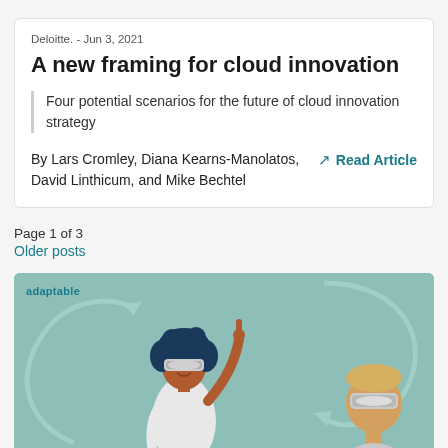Deloitte. - Jun 3, 2021
A new framing for cloud innovation
Four potential scenarios for the future of cloud innovation strategy
By Lars Cromley, Diana Kearns-Manolatos, David Linthicum, and Mike Bechtel
Read Article
Page 1 of 3
Older posts
[Figure (illustration): Illustration of two people wearing VR/AR headsets on a teal/green background with circular arrow motifs and the label 'adaptable' in the top-left corner.]